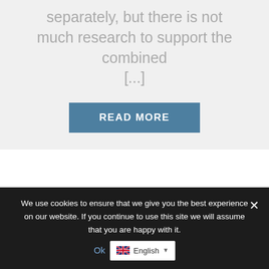separately, but there is not much research to support the combined [...]
READ MORE
MEDICATIONS   POSTED BY MODERATOR
[Figure (photo): Close-up macro photograph of a tick or spider on skin]
We use cookies to ensure that we give you the best experience on our website. If you continue to use this site we will assume that you are happy with it.
Ok
English